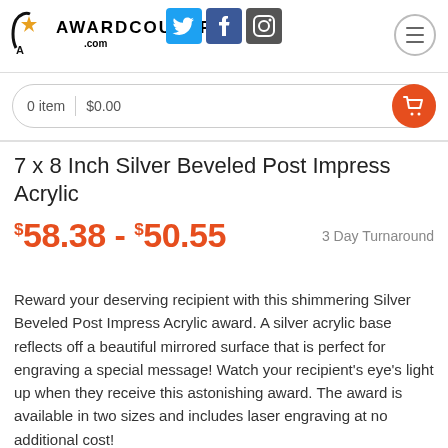[Figure (logo): AwardCountry.com logo with stylized A and star icon]
[Figure (illustration): Social media icons: Twitter, Facebook, Instagram]
0 item | $0.00
7 x 8 Inch Silver Beveled Post Impress Acrylic
$58.38 - $50.55   3 Day Turnaround
Reward your deserving recipient with this shimmering Silver Beveled Post Impress Acrylic award. A silver acrylic base reflects off a beautiful mirrored surface that is perfect for engraving a special message! Watch your recipient's eye's light up when they receive this astonishing award. The award is available in two sizes and includes laser engraving at no additional cost!